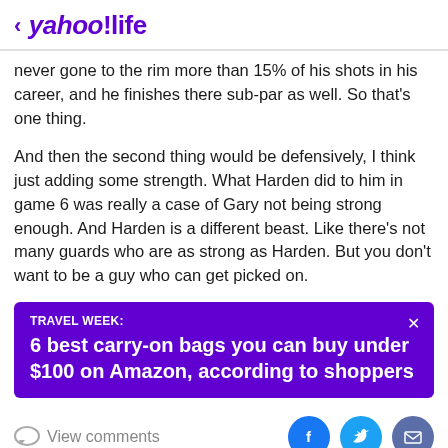< yahoo!life
never gone to the rim more than 15% of his shots in his career, and he finishes there sub-par as well. So that's one thing.
And then the second thing would be defensively, I think just adding some strength. What Harden did to him in game 6 was really a case of Gary not being strong enough. And Harden is a different beast. Like there's not many guards who are as strong as Harden. But you don't want to be a guy who can get picked on.
[Figure (other): Purple advertisement banner with text: TRAVEL WEEK: 6 best carry-on bags you can buy under $100 on Amazon, according to shoppers. Has a close (X) button in the top right corner.]
View comments
[Figure (other): Social sharing icons: Facebook (blue circle with f), Twitter (light blue circle with bird), Email (dark blue circle with envelope)]